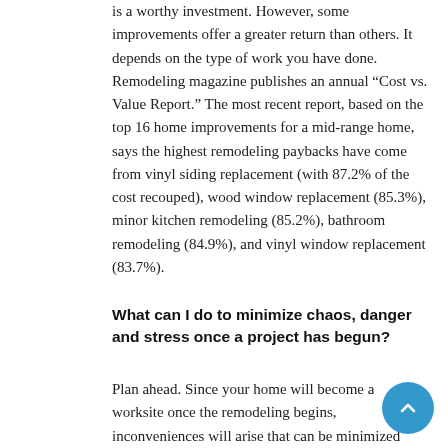is a worthy investment. However, some improvements offer a greater return than others. It depends on the type of work you have done. Remodeling magazine publishes an annual “Cost vs. Value Report.” The most recent report, based on the top 16 home improvements for a mid-range home, says the highest remodeling paybacks have come from vinyl siding replacement (with 87.2% of the cost recouped), wood window replacement (85.3%), minor kitchen remodeling (85.2%), bathroom remodeling (84.9%), and vinyl window replacement (83.7%).
What can I do to minimize chaos, danger and stress once a project has begun?
Plan ahead. Since your home will become a worksite once the remodeling begins, inconveniences will arise that can be minimized with a little planning.